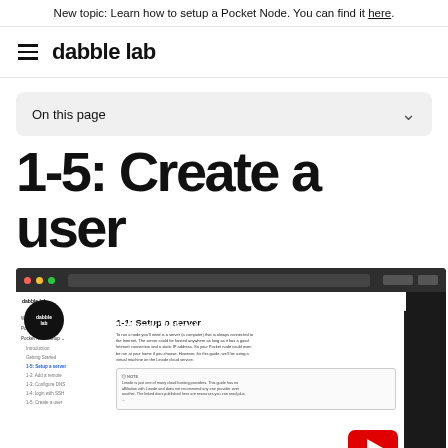New topic: Learn how to setup a Pocket Node. You can find it here.
dabble lab
On this page
1-5: Create a user
[Figure (screenshot): A YouTube video thumbnail showing the Pocket Network Validator Node Setup course on the Dabble Lab website, with a sidebar showing course navigation items including 'Setup a server', and the main content area showing '1-1: Setup a server' page text. A red YouTube play button is visible in the bottom right.]